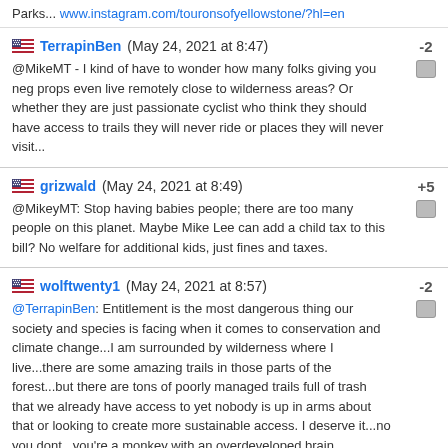Parks... www.instagram.com/touronsofyellowstone/?hl=en
TerrapinBen (May 24, 2021 at 8:47) -2
@MikeMT - I kind of have to wonder how many folks giving you neg props even live remotely close to wilderness areas? Or whether they are just passionate cyclist who think they should have access to trails they will never ride or places they will never visit...
grizwald (May 24, 2021 at 8:49) +5
@MikeyMT: Stop having babies people; there are too many people on this planet. Maybe Mike Lee can add a child tax to this bill? No welfare for additional kids, just fines and taxes.
wolftwenty1 (May 24, 2021 at 8:57) -2
@TerrapinBen: Entitlement is the most dangerous thing our society and species is facing when it comes to conservation and climate change...I am surrounded by wilderness where I live...there are some amazing trails in those parts of the forest...but there are tons of poorly managed trails full of trash that we already have access to yet nobody is up in arms about that or looking to create more sustainable access. I deserve it...no you dont...you're a monkey with an overdeveloped brain,